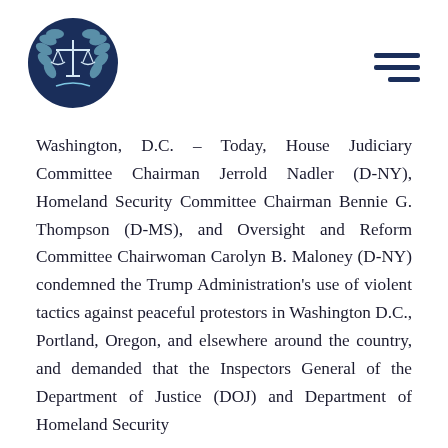[Figure (logo): Circular logo with dark navy blue background showing scales of justice icon and laurel wreath border]
Washington, D.C. – Today, House Judiciary Committee Chairman Jerrold Nadler (D-NY), Homeland Security Committee Chairman Bennie G. Thompson (D-MS), and Oversight and Reform Committee Chairwoman Carolyn B. Maloney (D-NY) condemned the Trump Administration's use of violent tactics against peaceful protestors in Washington D.C., Portland, Oregon, and elsewhere around the country, and demanded that the Inspectors General of the Department of Justice (DOJ) and Department of Homeland Security